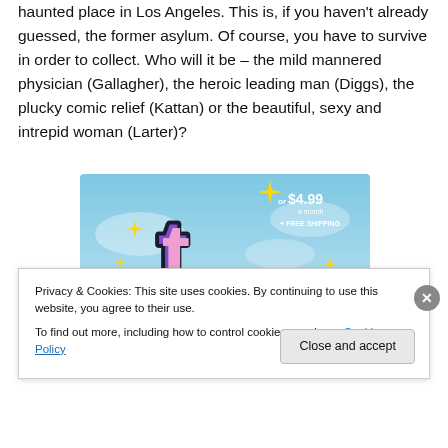haunted place in Los Angeles. This is, if you haven't already guessed, the former asylum. Of course, you have to survive in order to collect. Who will it be – the mild mannered physician (Gallagher), the heroic leading man (Diggs), the plucky comic relief (Kattan) or the beautiful, sexy and intrepid woman (Larter)?
[Figure (illustration): Tumblr advertisement banner showing the Tumblr 't' logo in pink and purple on a blue sky background with yellow sparkle stars, price 'or $4.99 a month + FREE SHIPPING']
Privacy & Cookies: This site uses cookies. By continuing to use this website, you agree to their use.
To find out more, including how to control cookies, see here: Cookie Policy